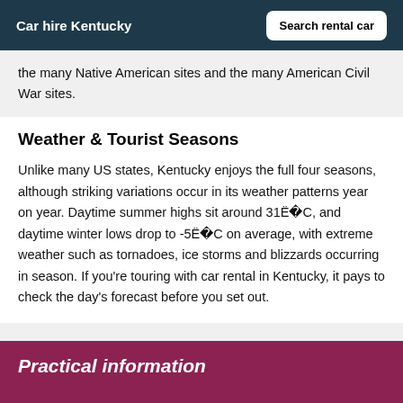Car hire Kentucky | Search rental car
the many Native American sites and the many American Civil War sites.
Weather & Tourist Seasons
Unlike many US states, Kentucky enjoys the full four seasons, although striking variations occur in its weather patterns year on year. Daytime summer highs sit around 31Ë C, and daytime winter lows drop to -5Ë C on average, with extreme weather such as tornadoes, ice storms and blizzards occurring in season. If you're touring with car rental in Kentucky, it pays to check the day's forecast before you set out.
Practical information